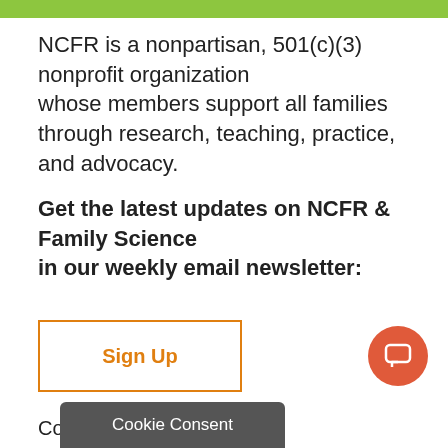NCFR is a nonpartisan, 501(c)(3) nonprofit organization whose members support all families through research, teaching, practice, and advocacy.
Get the latest updates on NCFR & Family Science in our weekly email newsletter:
Sign Up
Co
Cookie Consent